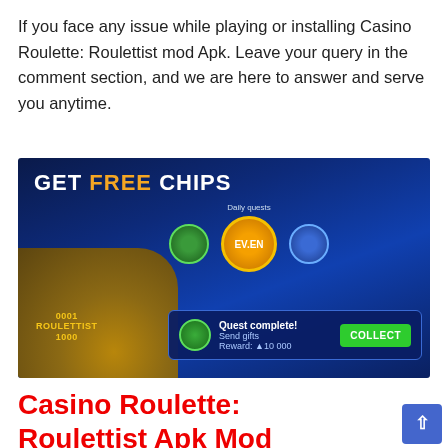If you face any issue while playing or installing Casino Roulette: Roulettist mod Apk. Leave your query in the comment section, and we are here to answer and serve you anytime.
[Figure (screenshot): Screenshot of Casino Roulette Roulettist game showing 'GET FREE CHIPS' banner with daily quests panel including an 'EVEN' badge, coins, and a 'Quest complete! Send gifts Reward: 10,000' popup with a green COLLECT button.]
Casino Roulette: Roulettist Apk Mod [Unlimited Money] on